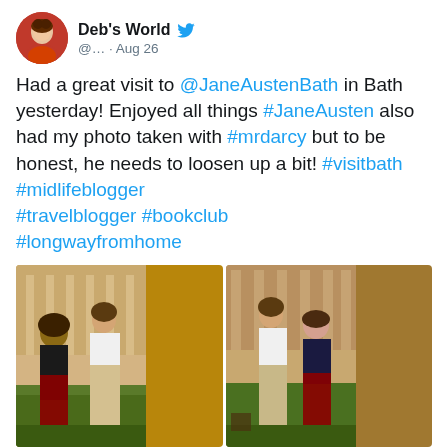[Figure (other): Twitter/social media post by Deb's World showing avatar, username, tweet text, and two photos of people in period costume at Jane Austen museum in Bath]
Had a great visit to @JaneAustenBath in Bath yesterday! Enjoyed all things #JaneAusten also had my photo taken with #mrdarcy but to be honest, he needs to loosen up a bit! #visitbath #midlifeblogger #travelblogger #bookclub #longwayfromhome
Deb's World